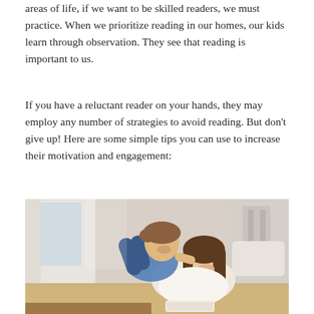areas of life, if we want to be skilled readers, we must practice. When we prioritize reading in our homes, our kids learn through observation. They see that reading is important to us.
If you have a reluctant reader on your hands, they may employ any number of strategies to avoid reading. But don't give up! Here are some simple tips you can use to increase their motivation and engagement:
[Figure (photo): A woman and a young boy lying on a bed, both smiling and reading together. The boy is draped over the woman's back, and she is holding a book. The scene is warm and domestic, set in a bedroom with white furniture and natural light.]